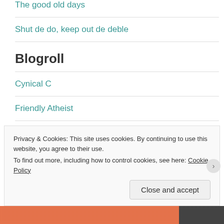The good old days
Shut de do, keep out de deble
Blogroll
Cynical C
Friendly Atheist
fstoppers
Privacy & Cookies: This site uses cookies. By continuing to use this website, you agree to their use.
To find out more, including how to control cookies, see here: Cookie Policy
Close and accept